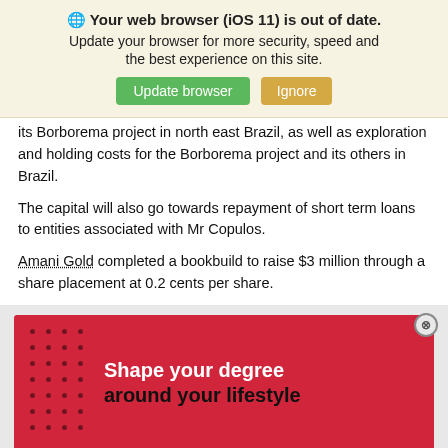[Figure (screenshot): Browser update warning banner with globe icon, title 'Your web browser (iOS 11) is out of date.', subtitle 'Update your browser for more security, speed and the best experience on this site.', green 'Update browser' button and tan 'Ignore' button.]
its Borborema project in north east Brazil, as well as exploration and holding costs for the Borborema project and its others in Brazil.
The capital will also go towards repayment of short term loans to entities associated with Mr Copulos.
Amani Gold completed a bookbuild to raise $3 million through a share placement at 0.2 cents per share.
[Figure (infographic): Red advertisement banner with dot pattern on left side and white/black bold text: 'Shape your degree around your lifestyle'. Close button (X) in top right corner of the ad area.]